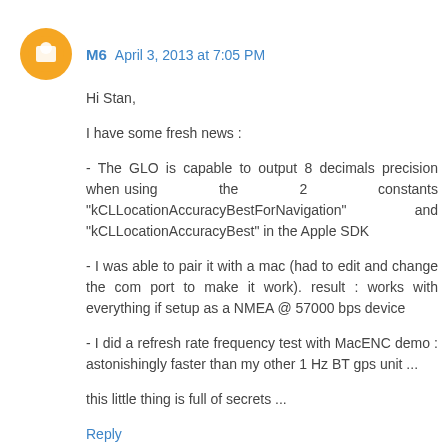M6  April 3, 2013 at 7:05 PM
Hi Stan,
I have some fresh news :
- The GLO is capable to output 8 decimals precision when using the 2 constants "kCLLocationAccuracyBestForNavigation" and "kCLLocationAccuracyBest" in the Apple SDK
- I was able to pair it with a mac (had to edit and change the com port to make it work). result : works with everything if setup as a NMEA @ 57000 bps device
- I did a refresh rate frequency test with MacENC demo : astonishingly faster than my other 1 Hz BT gps unit ...
this little thing is full of secrets ...
Reply